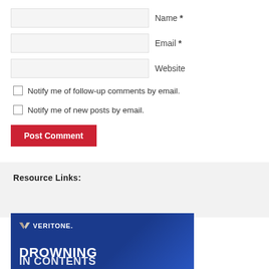Name *
Email *
Website
Notify me of follow-up comments by email.
Notify me of new posts by email.
Post Comment
Resource Links:
[Figure (illustration): Veritone banner with logo and text DROWNING IN CONTENTS on dark blue background]